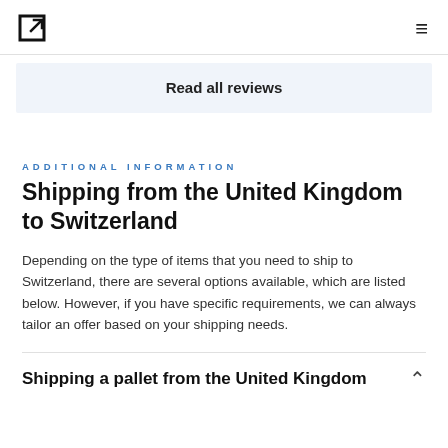[logo icon] [hamburger menu]
Read all reviews
ADDITIONAL INFORMATION
Shipping from the United Kingdom to Switzerland
Depending on the type of items that you need to ship to Switzerland, there are several options available, which are listed below. However, if you have specific requirements, we can always tailor an offer based on your shipping needs.
Shipping a pallet from the United Kingdom